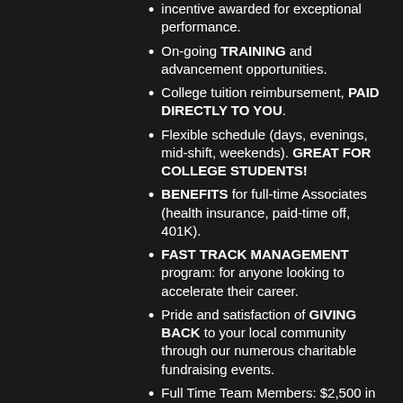incentive awarded for exceptional performance.
On-going TRAINING and advancement opportunities.
College tuition reimbursement, PAID DIRECTLY TO YOU.
Flexible schedule (days, evenings, mid-shift, weekends). GREAT FOR COLLEGE STUDENTS!
BENEFITS for full-time Associates (health insurance, paid-time off, 401K).
FAST TRACK MANAGEMENT program: for anyone looking to accelerate their career.
Pride and satisfaction of GIVING BACK to your local community through our numerous charitable fundraising events.
Full Time Team Members: $2,500 in Tuition Reimbursement per semester, maximum of $5,000 a year.